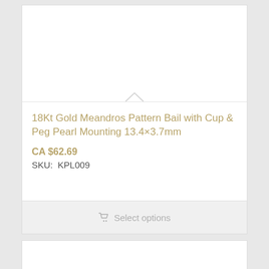[Figure (photo): Product image area (white/blank) for 18Kt Gold Meandros Pattern Bail with Cup & Peg Pearl Mounting]
18Kt Gold Meandros Pattern Bail with Cup & Peg Pearl Mounting 13.4×3.7mm
CA $62.69
SKU:  KPL009
Select options
[Figure (photo): Second product image area (white/blank)]